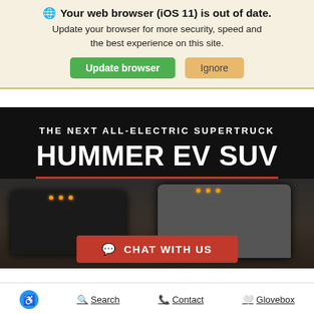🌐 Your web browser (iOS 11) is out of date. Update your browser for more security, speed and the best experience on this site. [Update browser] [Ignore]
[Figure (screenshot): Hero section with dark background showing 'THE NEXT ALL-ELECTRIC SUPERTRUCK' and 'HUMMER EV SUV' in large white bold text with red underline, two dark trucks visible below, and a red 'CHAT WITH US' button overlay]
🔵 Accessibility  🔍 Search  📞 Contact  🤍 Glovebox